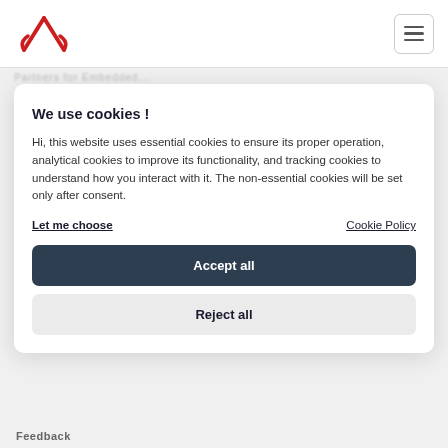[Figure (logo): Ampere logo with red stylized A and text AMPERE. in dark navy, plus hamburger menu button on the right.]
Partners for Embedded...
We use cookies !
Hi, this website uses essential cookies to ensure its proper operation, analytical cookies to improve its functionality, and tracking cookies to understand how you interact with it. The non-essential cookies will be set only after consent.
Let me choose
Cookie Policy
Accept all
Reject all
Feedback